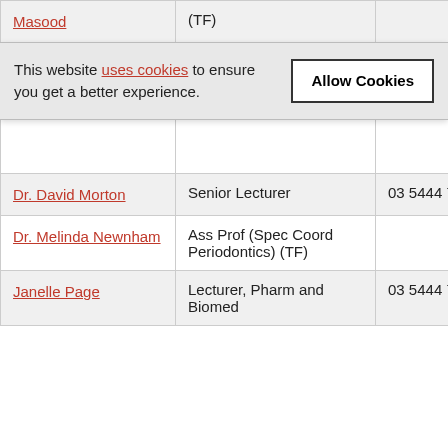| Name | Role | Phone |  |
| --- | --- | --- | --- |
| Masood | (TF) |  |  |
| Dr. Terri Meehan-Andrews | Senior Lecturer | 03 5444 7550 | A |
| Dr. David Morton | Senior Lecturer | 03 5444 7367 | D |
| Dr. Melinda Newnham | Ass Prof (Spec Coord Periodontics) (TF) |  | M |
| Janelle Page | Lecturer, Pharm and Biomed | 03 5444 7540 |  |
This website uses cookies to ensure you get a better experience.